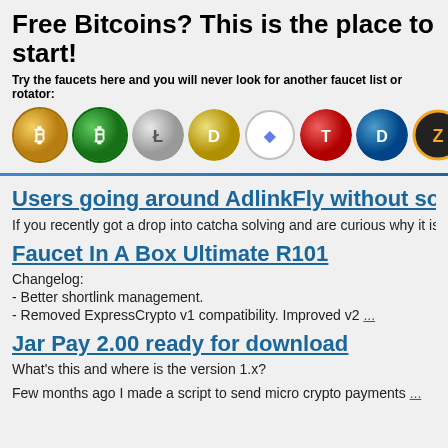Free Bitcoins? This is the place to start!
Try the faucets here and you will never look for another faucet list or rotator:
[Figure (illustration): Row of cryptocurrency coin icons: Bitcoin (gold), Bitcoin (green), Litecoin (silver), Dash (gold), Dash (blue), Ethereum, Tron, DigiByte, Zcash]
Users going around AdlinkFly without solving the c…
If you recently got a drop into catcha solving and are curious why it is because your f*** s…
Faucet In A Box Ultimate R101
Changelog:
- Better shortlink management.
- Removed ExpressCrypto v1 compatibility. Improved v2 ...
Jar Pay 2.00 ready for download
What's this and where is the version 1.x?
Few months ago I made a script to send micro crypto payments ...